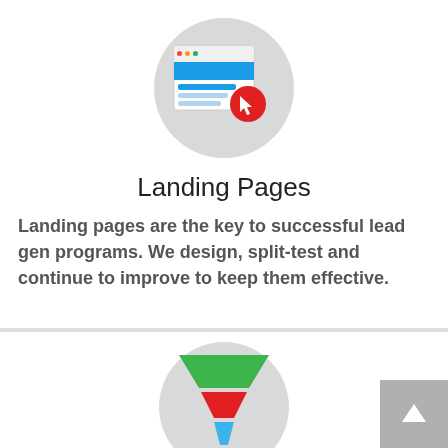[Figure (illustration): Landing page icon: a browser window with blue content blocks and a red circular cursor/click badge, over a gray circle background]
Landing Pages
Landing pages are the key to successful lead gen programs. We design, split-test and continue to improve to keep them effective.
[Figure (illustration): Sales funnel icon: a funnel with green top, red middle, and blue bottom section, on a gray circle background]
Sales Funnel